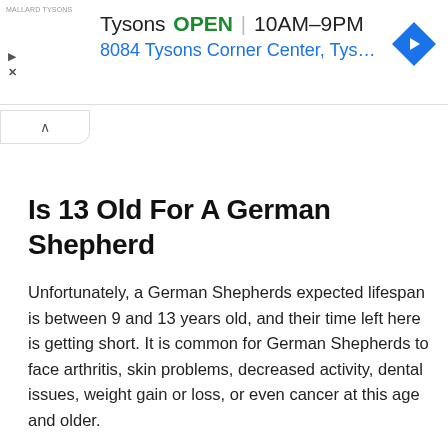[Figure (screenshot): Google Maps ad banner for Tysons location showing store name, open status, hours 10AM-9PM, address 8084 Tysons Corner Center, Tys..., and a blue diamond navigation icon]
Is 13 Old For A German Shepherd
Unfortunately, a German Shepherds expected lifespan is between 9 and 13 years old, and their time left here is getting short. It is common for German Shepherds to face arthritis, skin problems, decreased activity, dental issues, weight gain or loss, or even cancer at this age and older.
References And Further Reading